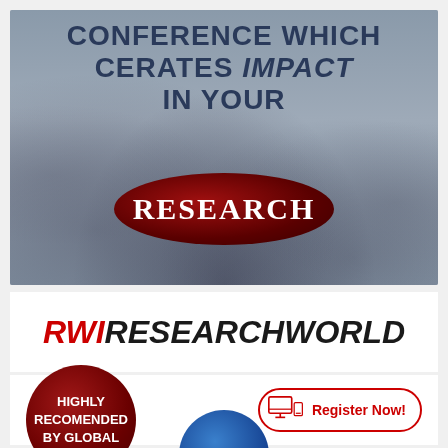[Figure (infographic): Background photo of blurred crowd at a conference with overlaid text reading 'CONFERENCE WHICH CERATES IMPACT IN YOUR' and a dark red oval badge with 'RESEARCH' text]
CONFERENCE WHICH CERATES IMPACT IN YOUR RESEARCH
RWIRESEARCHWORLD
HIGHLY RECOMENDED BY GLOBAL
Register Now!